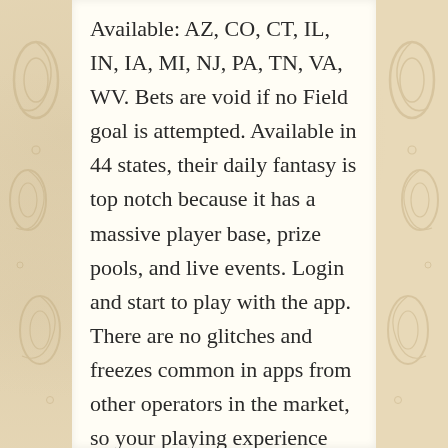Available: AZ, CO, CT, IL, IN, IA, MI, NJ, PA, TN, VA, WV. Bets are void if no Field goal is attempted. Available in 44 states, their daily fantasy is top notch because it has a massive player base, prize pools, and live events. Login and start to play with the app. There are no glitches and freezes common in apps from other operators in the market, so your playing experience should be smooth sailing through and through. The application is easy to understand and use and provides diverse and safe payment options. England are the most obvious side missing from the list of previous winners have been runners up three times. Predict the highest scoring quarter. If non runners